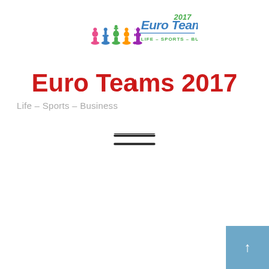[Figure (logo): Euro Teams 2017 logo with chess pieces and tagline LIFE - SPORTS - BUSINESS]
Euro Teams 2017
Life – Sports – Business
[Figure (other): Hamburger menu icon with two horizontal lines]
[Figure (other): Blue scroll button in bottom-right corner with arrow icon]